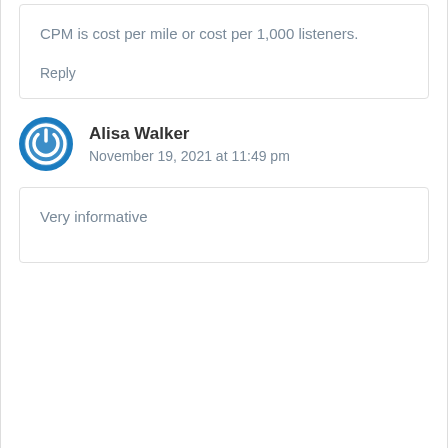CPM is cost per mile or cost per 1,000 listeners.
Reply
Alisa Walker
November 19, 2021 at 11:49 pm
Very informative